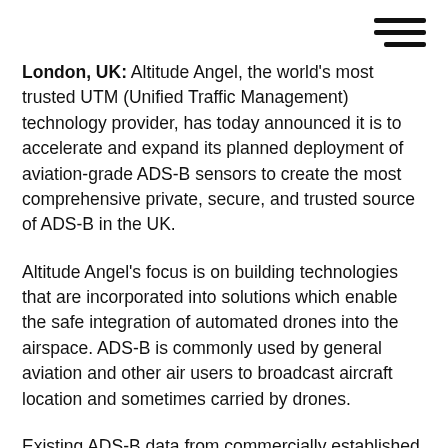[Figure (other): Hamburger menu icon — three horizontal bars in top-right corner]
London, UK: Altitude Angel, the world's most trusted UTM (Unified Traffic Management) technology provider, has today announced it is to accelerate and expand its planned deployment of aviation-grade ADS-B sensors to create the most comprehensive private, secure, and trusted source of ADS-B in the UK.
Altitude Angel's focus is on building technologies that are incorporated into solutions which enable the safe integration of automated drones into the airspace. ADS-B is commonly used by general aviation and other air users to broadcast aircraft location and sometimes carried by drones.
Existing ADS-B data from commercially established...